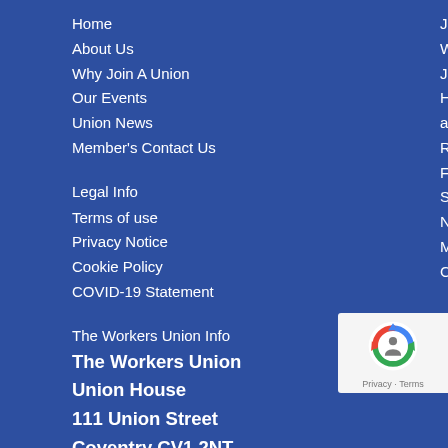Home
About Us
Why Join A Union
Our Events
Union News
Member's Contact Us
Join
Who Can Join?
How to Join a Union?
Registration Form
Sitemap
Non Member's Contact Us
Legal Info
Terms of use
Privacy Notice
Cookie Policy
COVID-19 Statement
The Workers Union Info
The Workers Union
Union House
111 Union Street
Coventry CV1 2NT
Email Us
[Figure (logo): reCAPTCHA badge with Google logo, Privacy and Terms links]